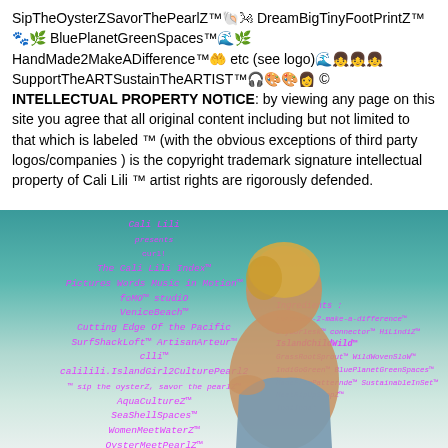SipTheOysterZSavorThePearlZ™🐚🌬 DreamBigTinyFootPrintZ™🐾🌿 BluePlanetGreenSpaces™🌊🌿 HandMade2MakeADifference™🤲 etc (see logo)🌊👧👧👧 SupportTheARTSustainTheARTIST™🎧🎨🎨👩 © INTELLECTUAL PROPERTY NOTICE: by viewing any page on this site you agree that all original content including but not limited to that which is labeled ™ (with the obvious exceptions of third party logos/companies ) is the copyright trademark signature intellectual property of Cali Lili ™ artist rights are rigorously defended.
[Figure (photo): Photo of a woman with short blonde hair wearing a blue/grey strapless top, posed against a teal/ocean background. Overlaid pink/magenta text in cursive/monospace font lists brand names and product lines including 'Cali Lili', 'The Cali Lili Index', 'Pictures Words Music in Motion', 'fo MO studio', 'VeniceBeach', 'Cutting Edge Of the Pacific', 'SurfShackLoft ArtisanArteur', 'clli', 'calilili.IslandGirl2CulturePearl2', 'sip the oysterZ, savor the pearlZ', 'AquaCulture', 'SeaShellSpaces', 'WomenMeetWaterZ', 'OysterMeetPearlZ', 'Ingredients:', 'handmade-2-make-a-difference', 'IvyBorlesk connector HiLindiZ', 'IslandChildWild', 'GrassRootSprout WildWovenSloW', 'IndiGoGreen BluePlanetGreenSpaces', 'MadeFromPatternde SustainableInSet', 'MeetRipUpShopZ', 'IndiInda']